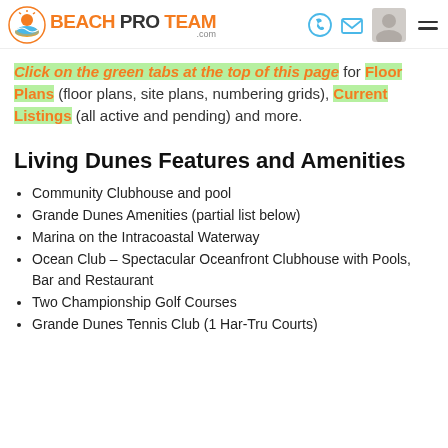BeachProTeam.com
Click on the green tabs at the top of this page for Floor Plans (floor plans, site plans, numbering grids), Current Listings (all active and pending) and more.
Living Dunes Features and Amenities
Community Clubhouse and pool
Grande Dunes Amenities (partial list below)
Marina on the Intracoastal Waterway
Ocean Club – Spectacular Oceanfront Clubhouse with Pools, Bar and Restaurant
Two Championship Golf Courses
Grande Dunes Tennis Club (1 Har-Tru Courts)